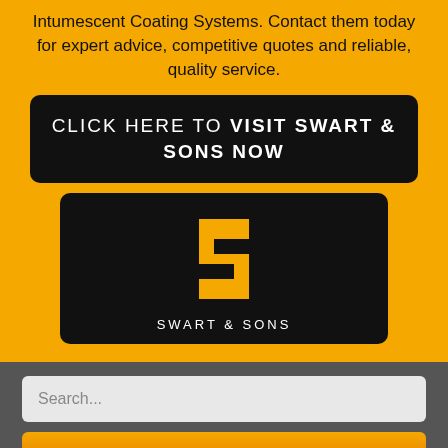Intumescent Coating Systems. Contact them today for expert advice, competitive quotes and reliable, quality service.
CLICK HERE TO VISIT SWART & SONS NOW
[Figure (logo): Swart & Sons logo — stylized golden S on black background with 'SWART & SONS' text below]
Search...
SEARCH
© 2020 Intumescent Coating Systems - All rights reserved